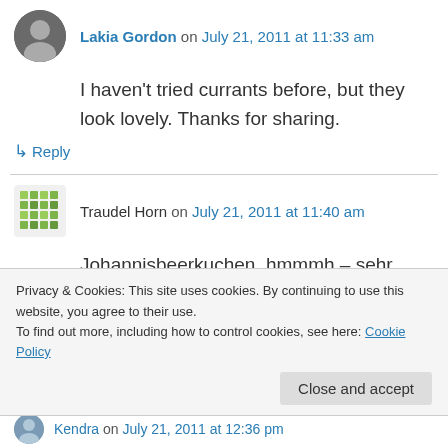Lakia Gordon on July 21, 2011 at 11:33 am
I haven't tried currants before, but they look lovely. Thanks for sharing.
↳ Reply
Traudel Horn on July 21, 2011 at 11:40 am
Johannisbeerkuchen, hmmmh – sehr lecker. Bei uns gibt es diese Woche auch welchen, ernte bereits die 3. Sorte (späte)
Privacy & Cookies: This site uses cookies. By continuing to use this website, you agree to their use. To find out more, including how to control cookies, see here: Cookie Policy
Close and accept
Kendra on July 21, 2011 at 12:36 pm